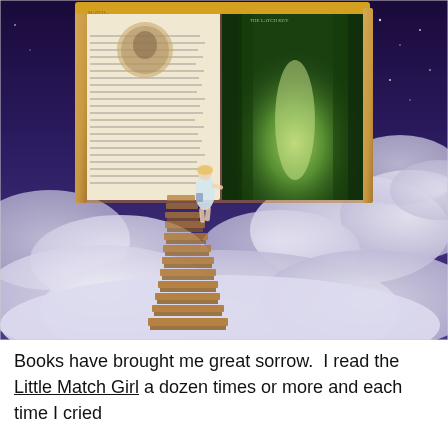[Figure (illustration): Fantasy digital illustration showing a giant open book floating in the sky among clouds. A girl in a light blue dress is walking up a staircase made of wooden steps that leads from the clouds up into the open pages of the book. The book cover has a warm golden/wood-grain texture. The left page shows an ornate illustration with a face, and the right page shows a magical forest path glowing with green light. The background is a deep purple-blue night sky with stars.]
Books have brought me great sorrow.  I read the Little Match Girl a dozen times or more and each time I cried